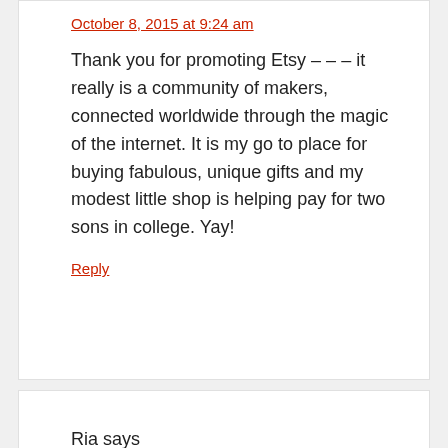October 8, 2015 at 9:24 am
Thank you for promoting Etsy – – – it really is a community of makers, connected worldwide through the magic of the internet. It is my go to place for buying fabulous, unique gifts and my modest little shop is helping pay for two sons in college. Yay!
Reply
Ria says